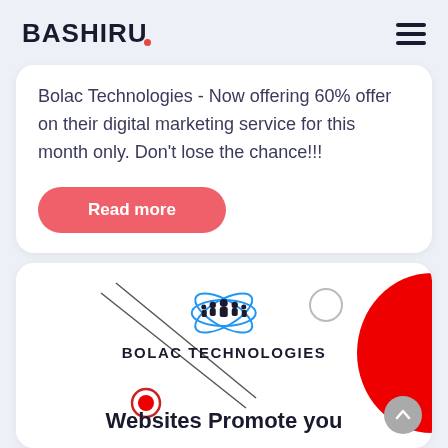BASHIRU
Bolac Technologies - Now offering 60% offer on their digital marketing service for this month only. Don't lose the chance!!!
Read more
[Figure (logo): Bolac Technologies logo with people silhouette and atomic orbit graphic, text BOLAC TECHNOLOGIES below, decorative lines and red half-circle shape, with 'Websites Promote you' heading below]